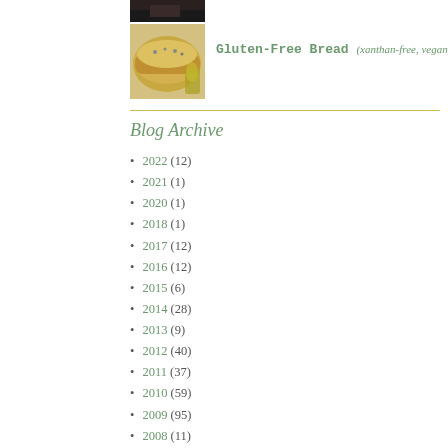[Figure (photo): Partial photo of food item at top, cropped dark image]
[Figure (photo): Photo of gluten-free bread loaf with seeds on top, olive oil visible]
Gluten-Free Bread (xanthan-free, vegan)
Blog Archive
2022 (12)
2021 (1)
2020 (1)
2018 (1)
2017 (12)
2016 (12)
2015 (6)
2014 (28)
2013 (9)
2012 (40)
2011 (37)
2010 (59)
2009 (95)
2008 (11)